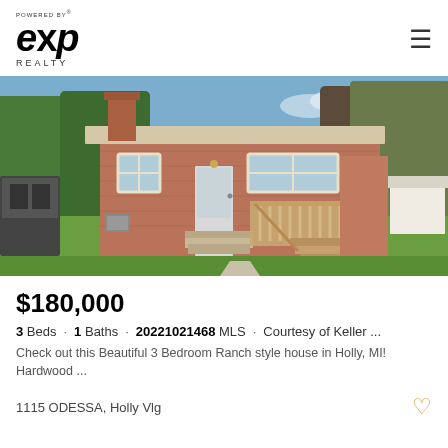[Figure (logo): eXp Realty logo with 'POWERED BY' text above and 'REALTY' below]
[Figure (photo): Exterior photo of a brick ranch-style house with a wooden deck and stairs, surrounded by trees and grass]
$180,000
3 Beds · 1 Baths · 20221021468 MLS · Courtesy of Keller ...
Check out this Beautiful 3 Bedroom Ranch style house in Holly, MI! Hardwood ...
1115 ODESSA, Holly Vlg